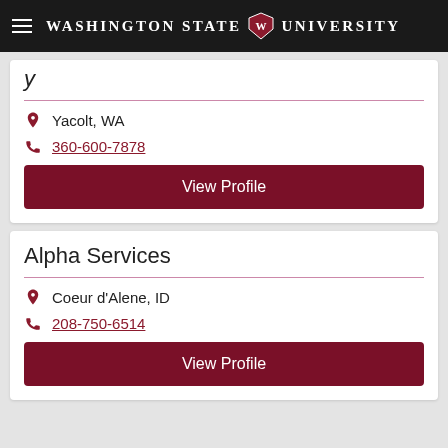Washington State University
Yacolt, WA
360-600-7878
View Profile
Alpha Services
Coeur d'Alene, ID
208-750-6514
View Profile